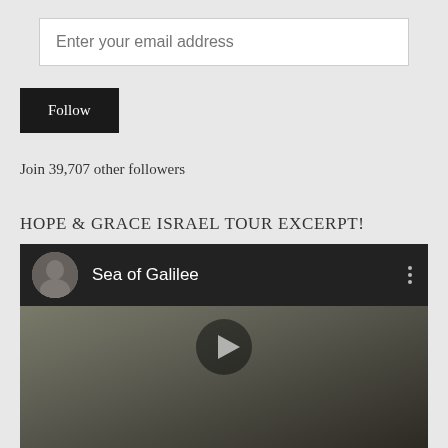Enter your email address
Follow
Join 39,707 other followers
HOPE & GRACE ISRAEL TOUR EXCERPT!
[Figure (screenshot): YouTube video embed showing 'Sea of Galilee' with a man in suit as avatar thumbnail, dark overlay, and a play button over a scene of people on a boat.]